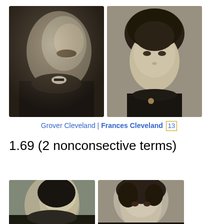[Figure (photo): Black and white portrait photograph of Grover Cleveland in profile, wearing a dark suit with bow tie]
[Figure (photo): Black and white portrait photograph of Frances Cleveland, facing slightly left, wearing a dark high-collar dress with a brooch]
Grover Cleveland | Frances Cleveland 13
1.69 (2 nonconsective terms)
[Figure (photo): Black and white portrait photograph of a man in profile (partially cropped at bottom)]
[Figure (photo): Black and white portrait photograph of a woman with curly hair (partially cropped at bottom)]